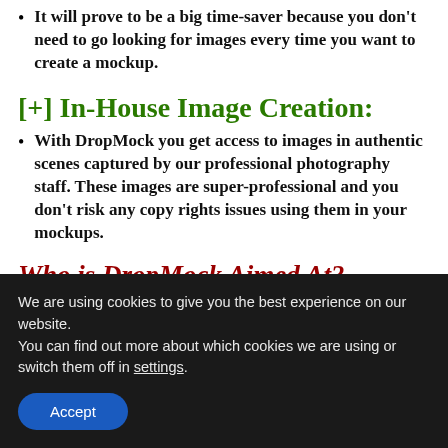It will prove to be a big time-saver because you don't need to go looking for images every time you want to create a mockup.
[+] In-House Image Creation:
With DropMock you get access to images in authentic scenes captured by our professional photography staff. These images are super-professional and you don't risk any copy rights issues using them in your mockups.
Who is DropMock Aimed At?
T-SHIRT SELLERS
AFFILIATE Marketers
We are using cookies to give you the best experience on our website.
You can find out more about which cookies we are using or switch them off in settings.
Accept